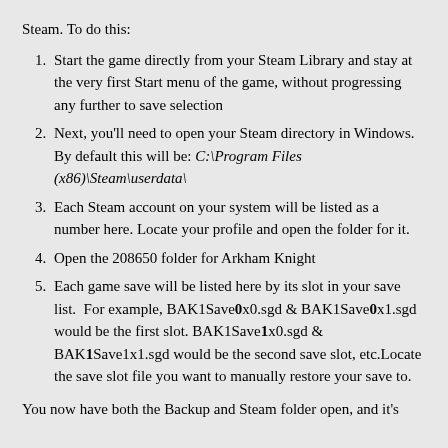Steam. To do this:
Start the game directly from your Steam Library and stay at the very first Start menu of the game, without progressing any further to save selection
Next, you'll need to open your Steam directory in Windows. By default this will be: C:\Program Files (x86)\Steam\userdata\
Each Steam account on your system will be listed as a number here. Locate your profile and open the folder for it.
Open the 208650 folder for Arkham Knight
Each game save will be listed here by its slot in your save list. For example, BAK1Save0x0.sgd & BAK1Save0x1.sgd would be the first slot. BAK1Save1x0.sgd & BAK1Save1x1.sgd would be the second save slot, etc.Locate the save slot file you want to manually restore your save to.
You now have both the Backup and Steam folder open, and it's